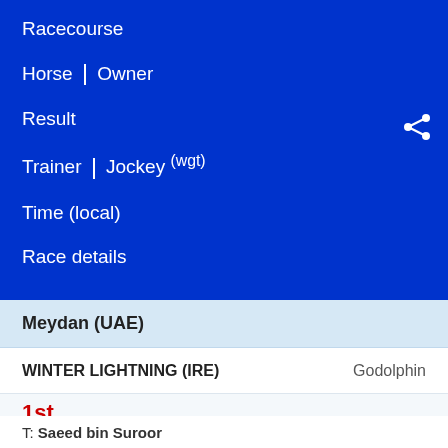Racecourse
Horse | Owner
Result
Trainer | Jockey (wgt)
Time (local)
Race details
Meydan (UAE)
WINTER LIGHTNING (IRE)   Godolphin
1st
T: Saeed bin Suroor